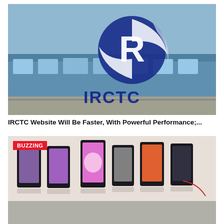[Figure (photo): IRCTC logo overlaid on a blue train background. The IRCTC logo features a stylized circular emblem in blue and white with 'IRCTC' text in blue below it.]
IRCTC Website Will Be Faster, With Powerful Performance;...
[Figure (photo): Multiple smartphones displayed on stands in a row, with a red 'BUZZING' badge in the top-left corner.]